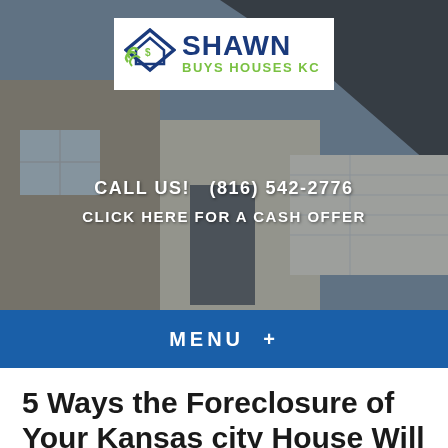[Figure (screenshot): Website header hero image of a suburban house exterior with stone facade and garage, overlaid with the Shawn Buys Houses KC logo, phone number, and cash offer link]
CALL US!   (816) 542-2776
CLICK HERE FOR A CASH OFFER
MENU  +
5 Ways the Foreclosure of Your Kansas city House Will Impact You in the Future